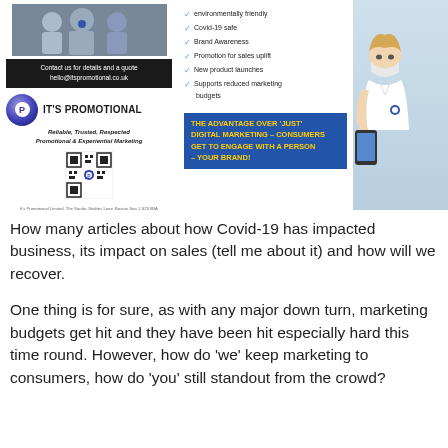[Figure (advertisement): It's Promotional advertisement showing a woman wearing a face mask holding a phone, a brand banner with logo, checklist of features (environmentally friendly, Covid-19 safe, Brand Awareness, Promotion for sales uplift, New product launches, Supports reduced marketing budgets), and advantage statement about digital marketing. Contact: hello@itspromotional.co.uk]
How many articles about how Covid-19 has impacted business, its impact on sales (tell me about it) and how will we recover.
One thing is for sure, as with any major down turn, marketing budgets get hit and they have been hit especially hard this time round. However, how do 'we' keep marketing to consumers, how do 'you' still standout from the crowd?